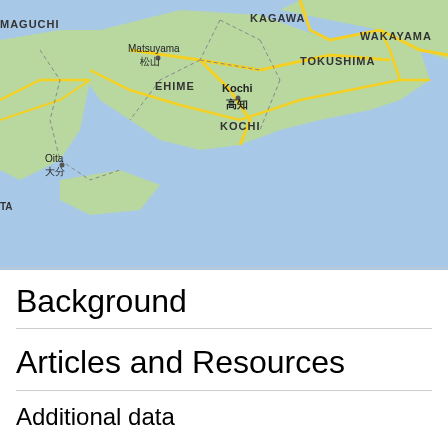[Figure (map): Google map showing southern Japan including Shikoku island with labeled regions: KAGAWA, TOKUSHIMA, WAKAYAMA, EHIME, KOCHI, and cities Matsuyama/松山, Kochi/高知, Oita/大分, MAGUCHI. Blue sea areas surround green land masses with yellow road lines.]
Background
Articles and Resources
Additional data